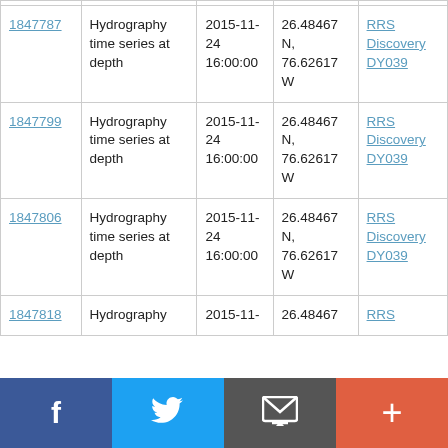| 1847787 | Hydrography time series at depth | 2015-11-24 16:00:00 | 26.48467 N, 76.62617 W | RRS Discovery DY039 |
| 1847799 | Hydrography time series at depth | 2015-11-24 16:00:00 | 26.48467 N, 76.62617 W | RRS Discovery DY039 |
| 1847806 | Hydrography time series at depth | 2015-11-24 16:00:00 | 26.48467 N, 76.62617 W | RRS Discovery DY039 |
| 1847818 | Hydrography | 2015-11- | 26.48467 | RRS |